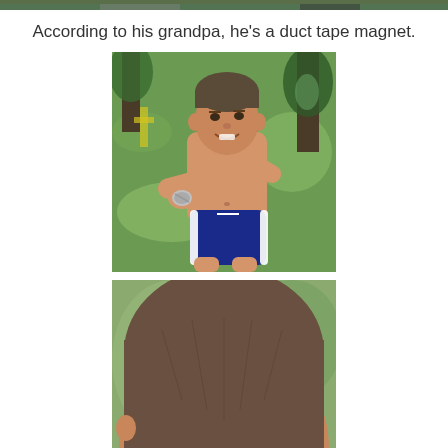[Figure (photo): Top strip of a photo showing an outdoor scene, partially cropped — appears to be people at a park or backyard gathering.]
According to his grandpa, he's a duct tape magnet.
[Figure (photo): A young shirtless boy wearing blue swim shorts with white stripes, standing on a grass lawn outdoors, reaching forward with both hands holding a small piece of duct tape. He is smiling and squinting in the sunlight. Trees and playground equipment are visible in the background.]
[Figure (photo): Close-up of the top of a child's head with short brown hair, shot from behind/side, outdoors with a blurred background.]